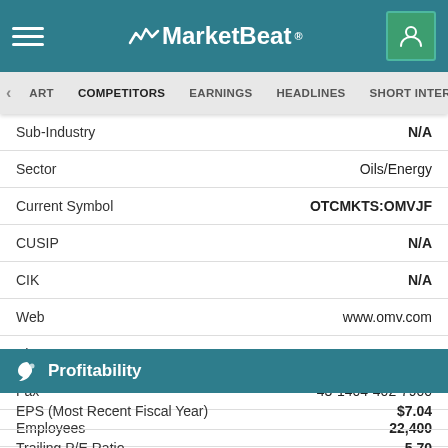MarketBeat
ART  COMPETITORS  EARNINGS  HEADLINES  SHORT INTEREST
| Field | Value |
| --- | --- |
| Sub-Industry | N/A |
| Sector | Oils/Energy |
| Current Symbol | OTCMKTS:OMVJF |
| CUSIP | N/A |
| CIK | N/A |
| Web | www.omv.com |
| Phone | 431404400 |
| Fax | 43-1404-402-7900 |
| Employees | 22,400 |
| Year Founded | 1956 |
Profitability
| Field | Value |
| --- | --- |
| EPS (Most Recent Fiscal Year) | $7.04 |
| Trailing P/E Ratio | 5.70 |